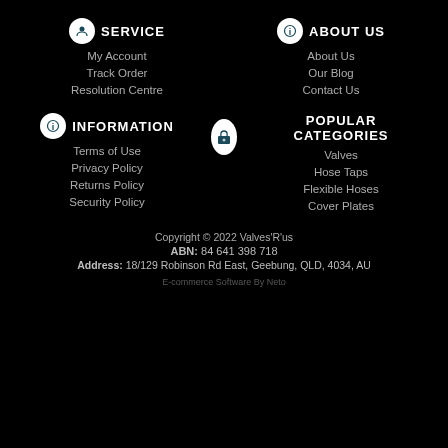SERVICE
My Account
Track Order
Resolution Centre
ABOUT US
About Us
Our Blog
Contact Us
INFORMATION
Terms of Use
Privacy Policy
Returns Policy
Security Policy
POPULAR CATEGORIES
Valves
Hose Taps
Flexible Hoses
Cover Plates
Copyright © 2022 Valves'R'us
ABN: 84 641 398 718
Address: 18/129 Robinson Rd East, Geebung, QLD, 4034, AU
E-commerce Software By Neto